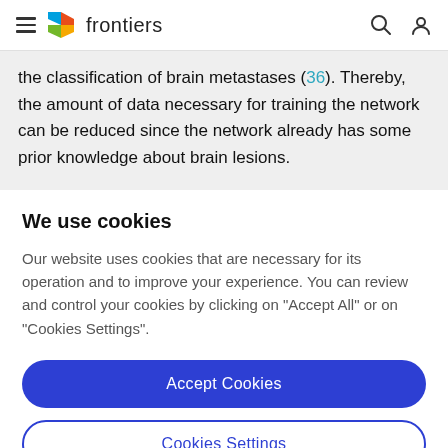frontiers
the classification of brain metastases (36). Thereby, the amount of data necessary for training the network can be reduced since the network already has some prior knowledge about brain lesions.
We use cookies
Our website uses cookies that are necessary for its operation and to improve your experience. You can review and control your cookies by clicking on "Accept All" or on "Cookies Settings".
Accept Cookies
Cookies Settings